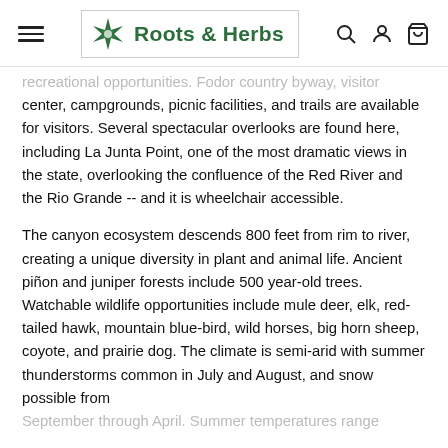Roots & Herbs
recreational opportunities. Fodor country byway, visitor center, campgrounds, picnic facilities, and trails are available for visitors. Several spectacular overlooks are found here, including La Junta Point, one of the most dramatic views in the state, overlooking the confluence of the Red River and the Rio Grande -- and it is wheelchair accessible.
The canyon ecosystem descends 800 feet from rim to river, creating a unique diversity in plant and animal life. Ancient piñon and juniper forests include 500 year-old trees. Watchable wildlife opportunities include mule deer, elk, red-tailed hawk, mountain blue-bird, wild horses, big horn sheep, coyote, and prairie dog. The climate is semi-arid with summer thunderstorms common in July and August, and snow possible from September through April. Summer temperatures range